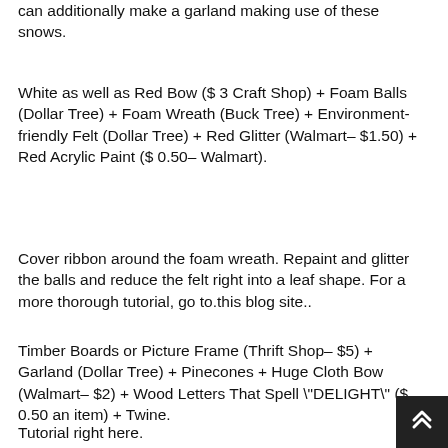can additionally make a garland making use of these snows.
White as well as Red Bow ($ 3 Craft Shop) + Foam Balls (Dollar Tree) + Foam Wreath (Buck Tree) + Environment-friendly Felt (Dollar Tree) + Red Glitter (Walmart– $1.50) + Red Acrylic Paint ($ 0.50– Walmart).
Cover ribbon around the foam wreath. Repaint and glitter the balls and reduce the felt right into a leaf shape. For a more thorough tutorial, go to.this blog site..
Timber Boards or Picture Frame (Thrift Shop– $5) + Garland (Dollar Tree) + Pinecones + Huge Cloth Bow (Walmart– $2) + Wood Letters That Spell "DELIGHT" ($ 0.50 an item) + Twine.
Tutorial right here.